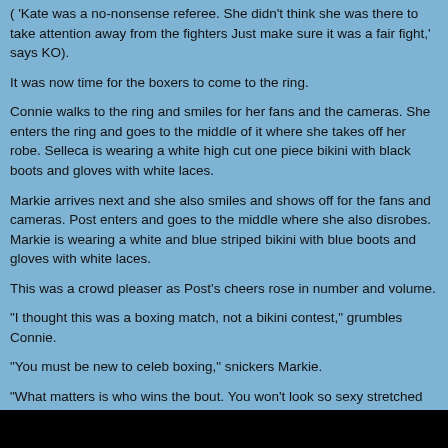( 'Kate was a no-nonsense referee. She didn't think she was there to take attention away from the fighters Just make sure it was a fair fight,' says KO).
It was now time for the boxers to come to the ring.
Connie walks to the ring and smiles for her fans and the cameras. She enters the ring and goes to the middle of it where she takes off her robe. Selleca is wearing a white high cut one piece bikini with black boots and gloves with white laces.
Markie arrives next and she also smiles and shows off for the fans and cameras. Post enters and goes to the middle where she also disrobes. Markie is wearing a white and blue striped bikini with blue boots and gloves with white laces.
This was a crowd pleaser as Post's cheers rose in number and volume.
"I thought this was a boxing match, not a bikini contest," grumbles Connie.
"You must be new to celeb boxing," snickers Markie.
"What matters is who wins the bout. You won't look so sexy stretched out with your face busted up," snapped Connie.
"You'll be the one with her face busted up--and in your grandmother's